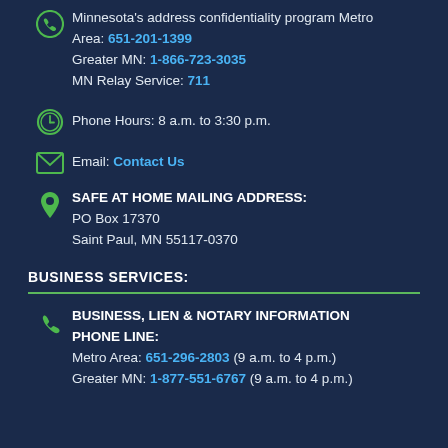Minnesota's address confidentiality program Metro Area: 651-201-1399 Greater MN: 1-866-723-3035 MN Relay Service: 711
Phone Hours: 8 a.m. to 3:30 p.m.
Email: Contact Us
SAFE AT HOME MAILING ADDRESS: PO Box 17370 Saint Paul, MN 55117-0370
BUSINESS SERVICES:
BUSINESS, LIEN & NOTARY INFORMATION PHONE LINE: Metro Area: 651-296-2803 (9 a.m. to 4 p.m.) Greater MN: 1-877-551-6767 (9 a.m. to 4 p.m.)